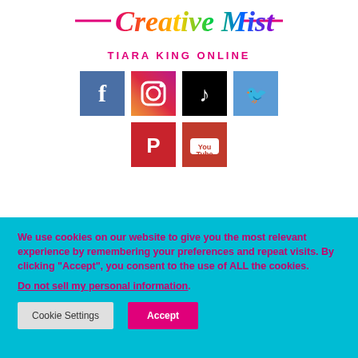[Figure (logo): Creative Mist cursive rainbow logo at top]
TIARA KING ONLINE
[Figure (infographic): Social media icons: Facebook, Instagram, TikTok, Twitter, Pinterest, YouTube]
We use cookies on our website to give you the most relevant experience by remembering your preferences and repeat visits. By clicking “Accept”, you consent to the use of ALL the cookies.
Do not sell my personal information.
Cookie Settings   Accept